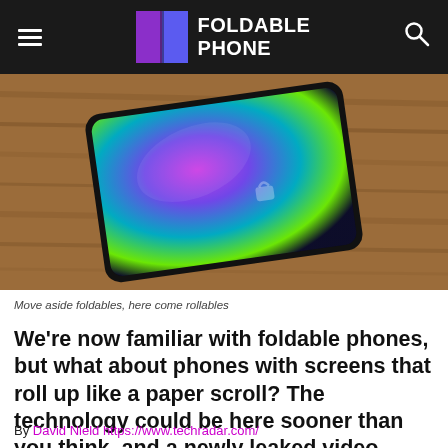FOLDABLE PHONE
[Figure (photo): A foldable/rollable phone prototype lying on a wooden surface, with a colorful swirling display visible, photographed from above at an angle.]
Move aside foldables, here come rollables
We're now familiar with foldable phones, but what about phones with screens that roll up like a paper scroll? The technology could be here sooner than you think, and a newly leaked video shows off a prototype that TCL is working on.
By David Nield https://www.techradar.com/